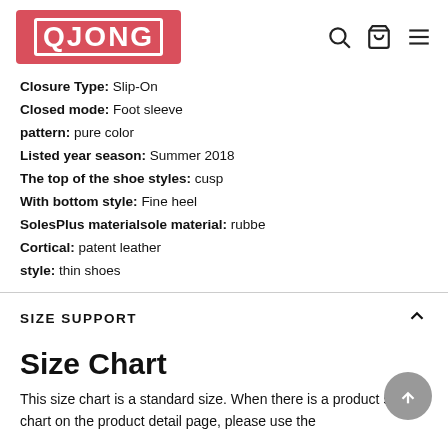QJONG
Closure Type: Slip-On
Closed mode: Foot sleeve
pattern: pure color
Listed year season: Summer 2018
The top of the shoe styles: cusp
With bottom style: Fine heel
SolesPlus materialsole material: rubbe
Cortical: patent leather
style: thin shoes
SIZE SUPPORT
Size Chart
This size chart is a standard size. When there is a product size chart on the product detail page, please use the